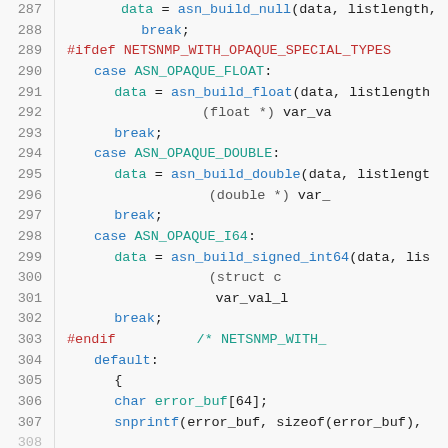[Figure (screenshot): Source code listing showing C code lines 287-307 with syntax highlighting. Line numbers in gray on left, preprocessor directives in red, keywords/identifiers in blue and teal, code in dark/black.]